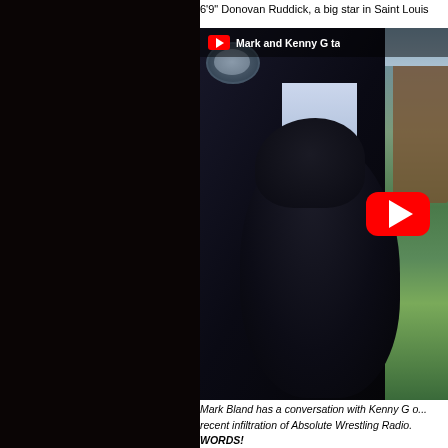6'9" Donovan Ruddick, a big star in Saint Louis
[Figure (screenshot): YouTube video thumbnail showing a person silhouetted in the front seat of a car with title 'Mark and Kenny G ta' visible and a red YouTube play button overlay]
Mark Bland has a conversation with Kenny G o... recent infiltration of Absolute Wrestling Radio. WORDS!